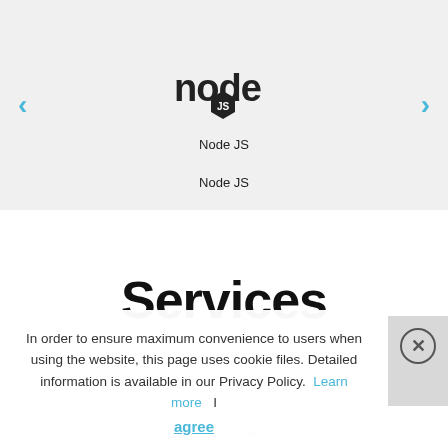[Figure (logo): Node.js logo with hexagonal JS badge in black and white, displayed in a light gray carousel section with left and right navigation arrows in blue]
Node JS
Services
In order to ensure maximum convenience to users when using the website, this page uses cookie files. Detailed information is available in our Privacy Policy.  Learn more   I agree